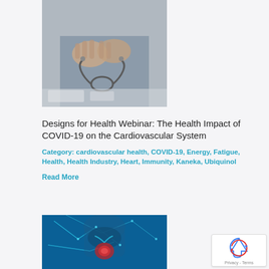[Figure (photo): Doctor or medical professional with stethoscope on desk, hands clasped, gray/blurred background]
Designs for Health Webinar: The Health Impact of COVID-19 on the Cardiovascular System
Category: cardiovascular health, COVID-19, Energy, Fatigue, Health, Health Industry, Heart, Immunity, Kaneka, Ubiquinol
Read More
[Figure (photo): Anatomical digital illustration of the cardiovascular/heart system in blue tones with red highlight at the heart]